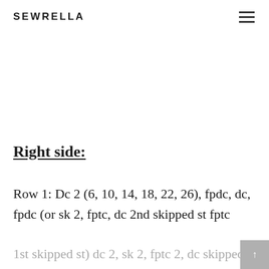SEWRELLA
Right side:
Row 1: Dc 2 (6, 10, 14, 18, 22, 26), fpdc, dc, fpdc (or sk 2, fptc, dc 2nd skipped st fptc
1st skipped st) dc 2, sk 2, fptc 2, dc skipped